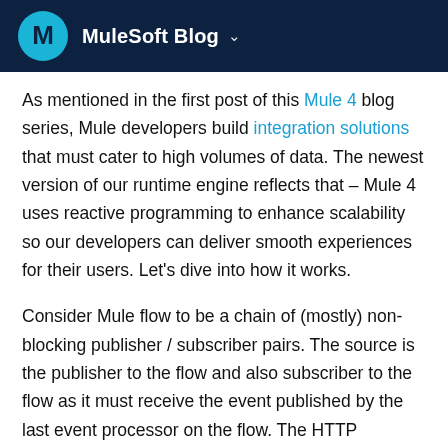MuleSoft Blog
As mentioned in the first post of this Mule 4 blog series, Mule developers build integration solutions that must cater to high volumes of data. The newest version of our runtime engine reflects that – Mule 4 uses reactive programming to enhance scalability so our developers can deliver smooth experiences for their users. Let's dive into how it works.
Consider Mule flow to be a chain of (mostly) non-blocking publisher / subscriber pairs. The source is the publisher to the flow and also subscriber to the flow as it must receive the event published by the last event processor on the flow. The HTTP Listener, for example,